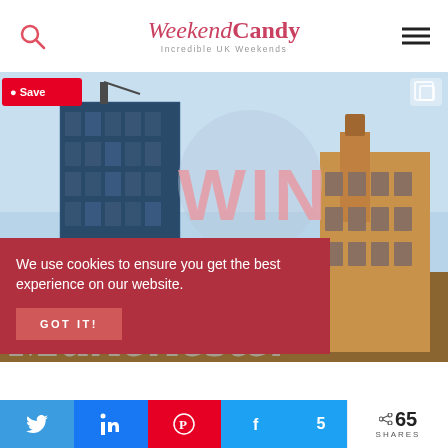WeekendCandy — Incredible UK Weekends
[Figure (photo): City skyline photo showing modern glass buildings and historic Victorian architecture, with overlay text WIN A CITY BREAK IN Manchester, Pinterest Save button, and copy icon]
We use cookies to ensure you get the best experience on our website.
GOT IT!
65 SHARES